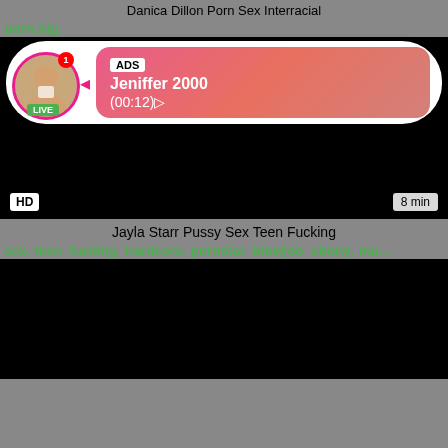Danica Dillon Porn Sex Interracial
porn, big...
[Figure (screenshot): Ad overlay with live avatar, ADS label, Jeniffer 2000 text, (00:12) time, over a dark video thumbnail]
HD  8 min
Jayla Starr Pussy Sex Teen Fucking
sex, teen, fucking, hardcore, pornstar, blowjob, ebony, mu...
[Figure (screenshot): Dark video thumbnail]